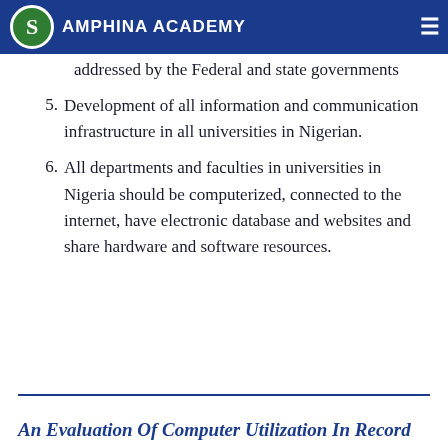AMPHINA ACADEMY
addressed by the Federal and state governments
5. Development of all information and communication infrastructure in all universities in Nigerian.
6. All departments and faculties in universities in Nigeria should be computerized, connected to the internet, have electronic database and websites and share hardware and software resources.
An Evaluation Of Computer Utilization In Record